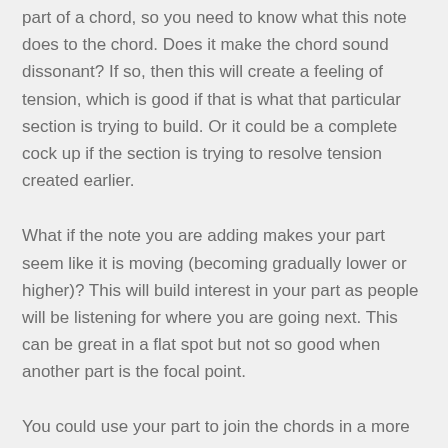part of a chord, so you need to know what this note does to the chord. Does it make the chord sound dissonant? If so, then this will create a feeling of tension, which is good if that is what that particular section is trying to build. Or it could be a complete cock up if the section is trying to resolve tension created earlier.
What if the note you are adding makes your part seem like it is moving (becoming gradually lower or higher)? This will build interest in your part as people will be listening for where you are going next. This can be great in a flat spot but not so good when another part is the focal point.
You could use your part to join the chords in a more gradual manner (starting on a note from one chord and working your way to a note in the next chord). That way the changes seem more fluid so that it sounds laid back and smoother to the ear. You could